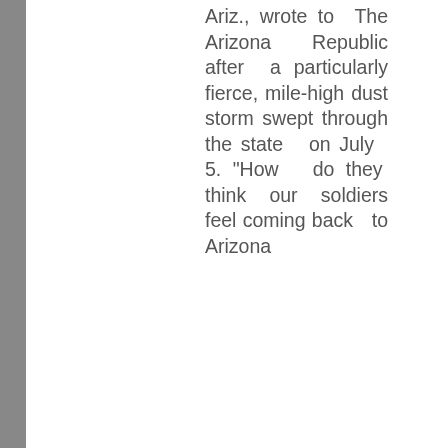Ariz., wrote to The Arizona Republic after a particularly fierce, mile-high dust storm swept through the state on July 5. “How do they think our soldiers feel coming back to Arizona